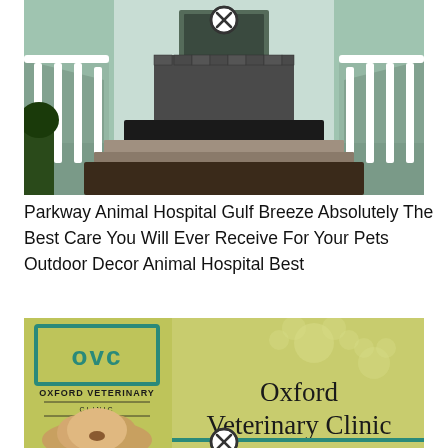[Figure (photo): Entrance hallway of an animal hospital with mint green walls, white railings, brick pathway, and dark floor mats leading to a door. A close/dismiss button (circled X) appears at the top center.]
Parkway Animal Hospital Gulf Breeze Absolutely The Best Care You Will Ever Receive For Your Pets Outdoor Decor Animal Hospital Best
[Figure (logo): Oxford Veterinary Clinic advertisement showing the OVC logo with teal border on a yellow-green background, a dog photo on the left, and 'Oxford Veterinary Clinic' text in large serif font on the right with paw print watermarks. A close/dismiss button at bottom center.]